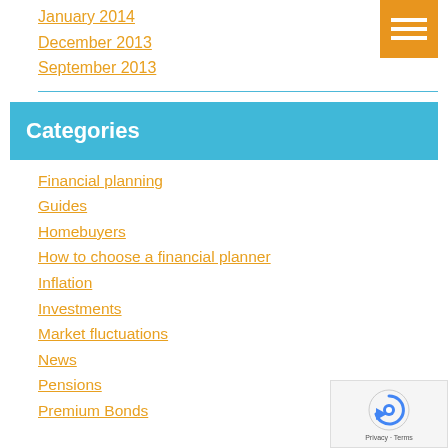January 2014
December 2013
September 2013
Categories
Financial planning
Guides
Homebuyers
How to choose a financial planner
Inflation
Investments
Market fluctuations
News
Pensions
Premium Bonds